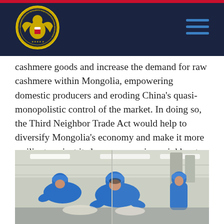CECC - Commission on Security and Cooperation in Europe
cashmere goods and increase the demand for raw cashmere within Mongolia, empowering domestic producers and eroding China's quasi-monopolistic control of the market. In doing so, the Third Neighbor Trade Act would help to diversify Mongolia's economy and make it more resilient against its large, aggressive neighbor to the south. It would also serve to empower women in the country, who are employed disproportionately to men in cashmere factories.
[Figure (photo): Women in blue uniforms and caps working at a cashmere factory, shown bending over their workstations under fluorescent lighting in an industrial facility.]